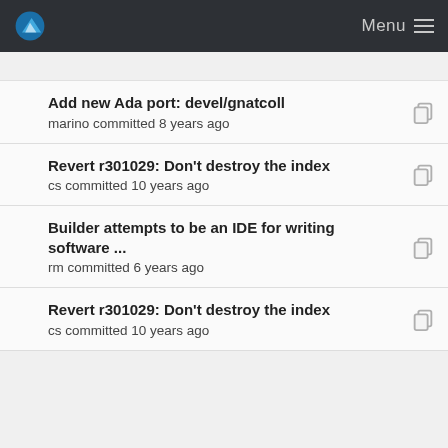Menu
Add new Ada port: devel/gnatcoll
marino committed 8 years ago
Revert r301029: Don't destroy the index
cs committed 10 years ago
Builder attempts to be an IDE for writing software ...
rm committed 6 years ago
Revert r301029: Don't destroy the index
cs committed 10 years ago
New port: devel/gnu-efi
trasz committed 7 years ago
Revert r301029: Don't destroy the index